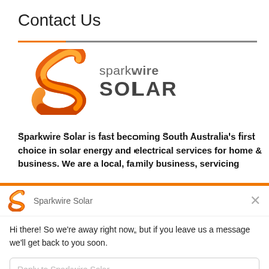Contact Us
[Figure (logo): Sparkwire Solar logo with orange stylized S shape and company name in dark grey]
Sparkwire Solar is fast becoming South Australia’s first choice in solar energy and electrical services for home & business. We are a local, family business, servicing
Sparkwire Solar
Hi there! So we’re away right now, but if you leave us a message we’ll get back to you soon.
Reply to Sparkwire Solar
Chat ⚡ by Drift